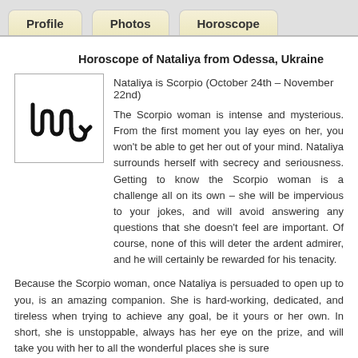Profile | Photos | Horoscope
Horoscope of Nataliya from Odessa, Ukraine
[Figure (illustration): Scorpio zodiac symbol in black on white background inside a bordered box]
Nataliya is Scorpio (October 24th – November 22nd)
The Scorpio woman is intense and mysterious. From the first moment you lay eyes on her, you won't be able to get her out of your mind. Nataliya surrounds herself with secrecy and seriousness. Getting to know the Scorpio woman is a challenge all on its own – she will be impervious to your jokes, and will avoid answering any questions that she doesn't feel are important. Of course, none of this will deter the ardent admirer, and he will certainly be rewarded for his tenacity.
Because the Scorpio woman, once Nataliya is persuaded to open up to you, is an amazing companion. She is hard-working, dedicated, and tireless when trying to achieve any goal, be it yours or her own. In short, she is unstoppable, always has her eye on the prize, and will take you with her to all the wonderful places she is sure...